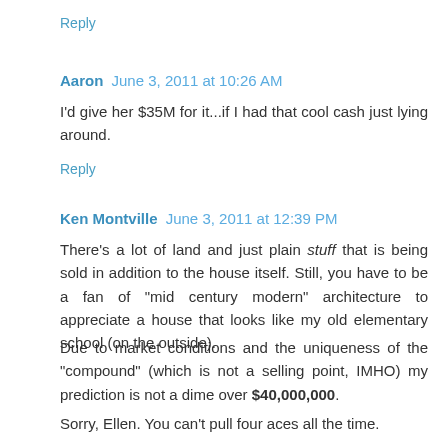Reply
Aaron  June 3, 2011 at 10:26 AM
I'd give her $35M for it...if I had that cool cash just lying around.
Reply
Ken Montville  June 3, 2011 at 12:39 PM
There's a lot of land and just plain stuff that is being sold in addition to the house itself. Still, you have to be a fan of "mid century modern" architecture to appreciate a house that looks like my old elementary school (on the outside).
Due to market conditions and the uniqueness of the "compound" (which is not a selling point, IMHO) my prediction is not a dime over $40,000,000.
Sorry, Ellen. You can't pull four aces all the time.